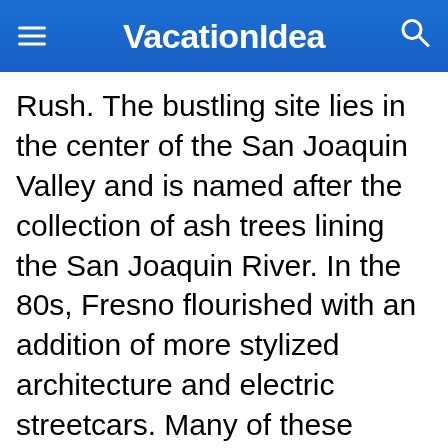VacationIdea
Rush. The bustling site lies in the center of the San Joaquin Valley and is named after the collection of ash trees lining the San Joaquin River. In the 80s, Fresno flourished with an addition of more stylized architecture and electric streetcars. Many of these structures can be seen today as visitors walk down Fulton Street and explore Downtown Fresno. Other sites of interest in Fresno, CA include the Fresno Chaffee Zoo, Forestiere Underground Gardens, and Warnors Theatre. We recommend that you call the